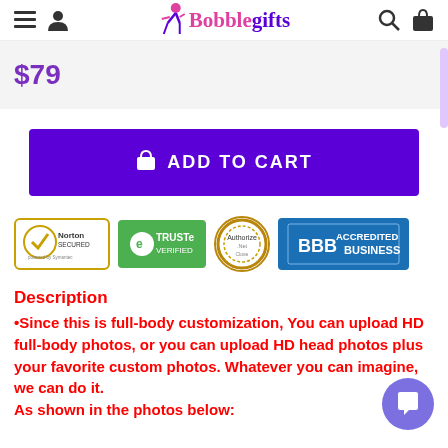Bobblegifts
$79
ADD TO CART
[Figure (other): Trust badges: Norton Secured powered by Symantec, TRUSTe Verified, Authorize.Net, BBB Accredited Business]
Description
Since this is full-body customization, You can upload HD full-body photos, or you can upload HD head photos plus your favorite custom photos. Whatever you can imagine, we can do it. As shown in the photos below: